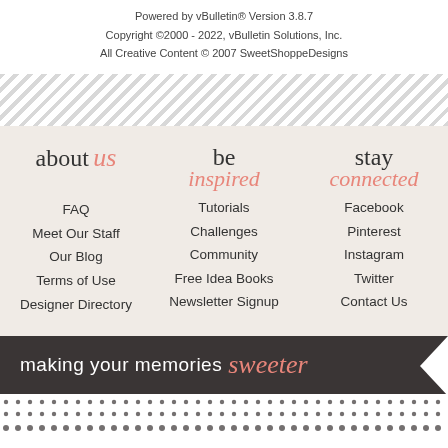Powered by vBulletin® Version 3.8.7
Copyright ©2000 - 2022, vBulletin Solutions, Inc.
All Creative Content © 2007 SweetShoppeDesigns
[Figure (illustration): Diagonal stripe divider pattern in grey and white]
about us
be inspired
stay connected
FAQ
Meet Our Staff
Our Blog
Terms of Use
Designer Directory
Tutorials
Challenges
Community
Free Idea Books
Newsletter Signup
Facebook
Pinterest
Instagram
Twitter
Contact Us
making your memories sweeter
[Figure (illustration): Dotted pattern rows at bottom of page]